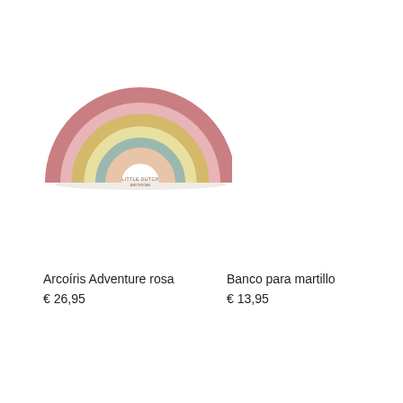[Figure (photo): A stacked rainbow toy made of colorful arched pieces in pink, white, yellow, cream, teal/gray, and peach, with a small 'Little Dutch' logo on the base arch. The rainbow toy is photographed on a white background.]
Arcoíris Adventure rosa
€ 26,95
Banco para martillo
€ 13,95